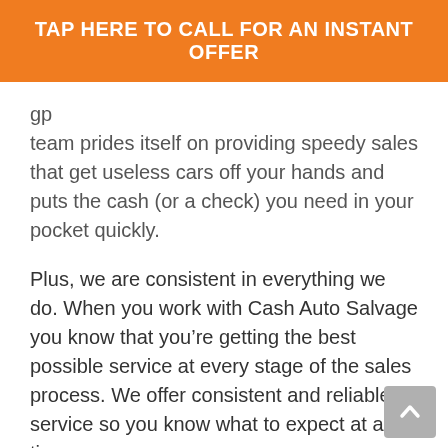TAP HERE TO CALL FOR AN INSTANT OFFER
g…y…p team prides itself on providing speedy sales that get useless cars off your hands and puts the cash (or a check) you need in your pocket quickly.
Plus, we are consistent in everything we do. When you work with Cash Auto Salvage you know that you're getting the best possible service at every stage of the sales process. We offer consistent and reliable service so you know what to expect at all times.
Cash for Any Car